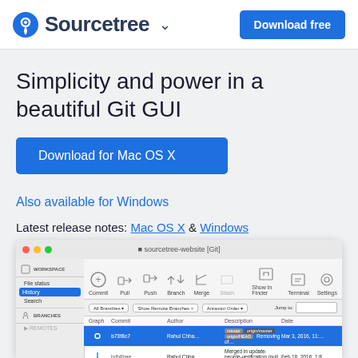Sourcetree — Download free
Simplicity and power in a beautiful Git GUI
Download for Mac OS X
Also available for Windows
Latest release notes: Mac OS X & Windows
[Figure (screenshot): Sourcetree Git GUI application screenshot showing commit history with graph, toolbar (Commit, Pull, Push, Branch, Merge, Show in Finder, Terminal, Settings), sidebar with WORKSPACE (File status, History, Search) and BRANCHES sections, and a commit list with columns Graph, Commit, Author, Description, Date.]